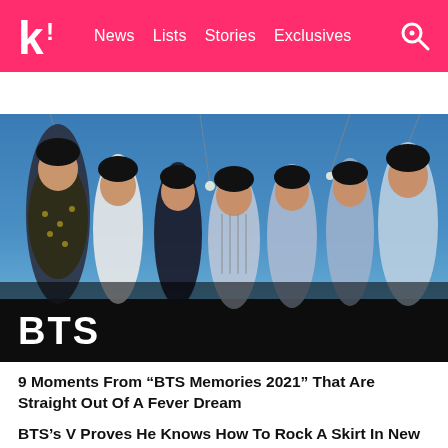k! News Lists Stories Exclusives
BTS  BLACKPINK  TWICE  SEVENTEEN  Girls' Generation
[Figure (photo): Group photo of BTS members (7 people) posing outdoors against a blue sky background with string lights. Large 'BTS' text overlaid in white at bottom left.]
9 Moments From “BTS Memories 2021” That Are Straight Out Of A Fever Dream
BTS’s V Proves He Knows How To Rock A Skirt In New